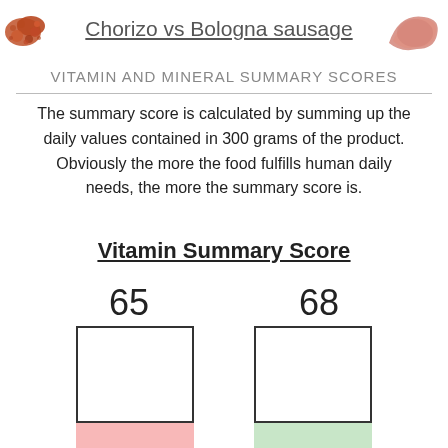Chorizo vs Bologna sausage
VITAMIN AND MINERAL SUMMARY SCORES
The summary score is calculated by summing up the daily values contained in 300 grams of the product. Obviously the more the food fulfills human daily needs, the more the summary score is.
Vitamin Summary Score
65
68